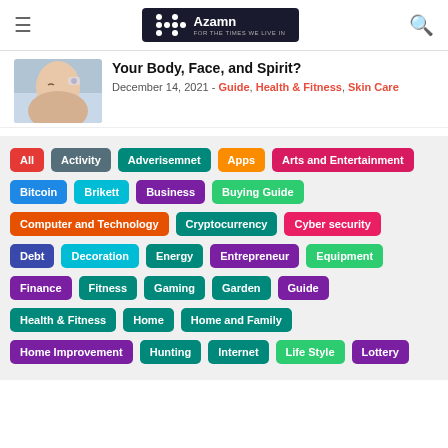Azamn - For The Times We Live In
Your Body, Face, and Spirit?
December 14, 2021 - Guide, Health & Fitness, Skin Care
All
Activity
Adverisemnet
Apps
Arts and Entertainment
Bitcoin
Brikett
Business
Buying Guide
Computer and Technology
Cryptocurrency
Cyber security
Debt
Decoration
Energy
Entrepreneur
Equipment
Finance
Fitness
Gaming
Garden
Guide
Health & Fitness
Home
Home and Family
Home Improvement
Hunting
Internet
Life Style
Lottery